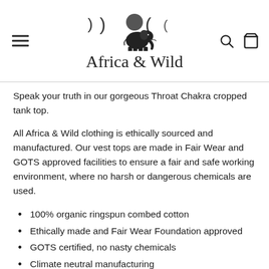[Figure (logo): Africa & Wild brand logo with moon phases, elephant silhouette, and cursive brand name text]
Speak your truth in our gorgeous Throat Chakra cropped tank top.
All Africa & Wild clothing is ethically sourced and manufactured. Our vest tops are made in Fair Wear and GOTS approved facilities to ensure a fair and safe working environment, where no harsh or dangerous chemicals are used.
100% organic ringspun combed cotton
Ethically made and Fair Wear Foundation approved
GOTS certified, no nasty chemicals
Climate neutral manufacturing